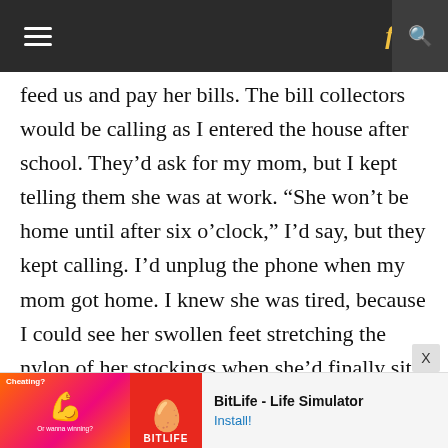≡  f  🔍
feed us and pay her bills. The bill collectors would be calling as I entered the house after school. They'd ask for my mom, but I kept telling them she was at work. “She won’t be home until after six o’clock,” I’d say, but they kept calling. I’d unplug the phone when my mom got home. I knew she was tired, because I could see her swollen feet stretching the nylon of her stockings when she’d finally sit on the couch. She would never eat until my brother and I had finished our meals. I remember being so angry with
[Figure (screenshot): Advertisement banner for BitLife - Life Simulator app with muscle emoji graphic on orange-red background and BitLife logo on red background]